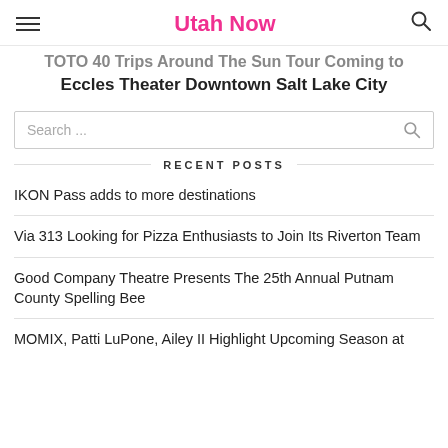Utah Now
TOTO 40 Trips Around The Sun Tour Coming to Eccles Theater Downtown Salt Lake City
Search ...
RECENT POSTS
IKON Pass adds to more destinations
Via 313 Looking for Pizza Enthusiasts to Join Its Riverton Team
Good Company Theatre Presents The 25th Annual Putnam County Spelling Bee
MOMIX, Patti LuPone, Ailey II Highlight Upcoming Season at